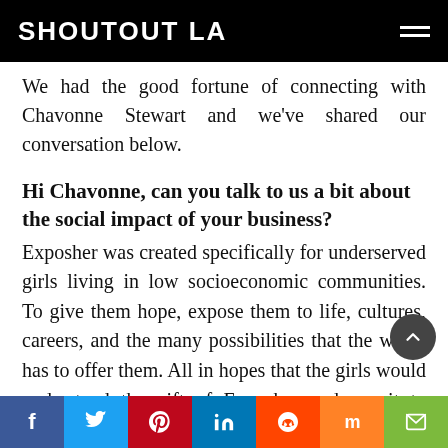SHOUTOUT LA
We had the good fortune of connecting with Chavonne Stewart and we’ve shared our conversation below.
Hi Chavonne, can you talk to us a bit about the social impact of your business?
Exposher was created specifically for underserved girls living in low socioeconomic communities. To give them hope, expose them to life, cultures, careers, and the many possibilities that the world has to offer them. All in hopes that the girls would understand the gift of Exposher and use it to better their
f  t  p  in  reddit  mix  mail